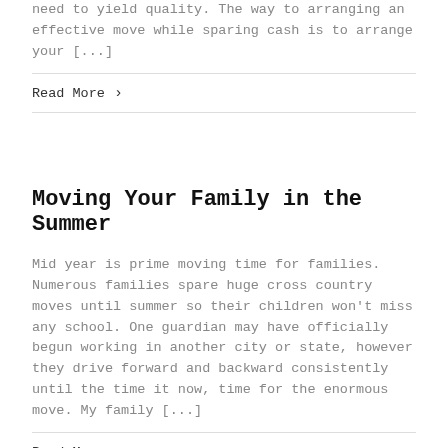need to yield quality. The way to arranging an effective move while sparing cash is to arrange your [...]
Read More ›
Moving Your Family in the Summer
Mid year is prime moving time for families. Numerous families spare huge cross country moves until summer so their children won't miss any school. One guardian may have officially begun working in another city or state, however they drive forward and backward consistently until the time it now, time for the enormous move. My family [...]
Read More ›
3 Tips for Simplifying a Long Distance Move